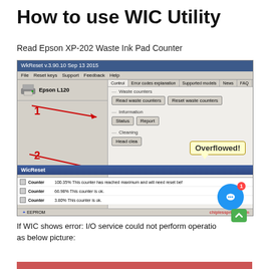How to use WIC Utility
Read Epson XP-202 Waste Ink Pad Counter
[Figure (screenshot): WicReset v.3.90.10 Sep 13 2015 application window showing Epson L120 printer selected, with tabs Control, Error codes explanation, Supported models, News, FAQ. Waste counters section with 'Read waste counters' and 'Reset waste counters' buttons. Information section with Status and Report buttons. Cleaning section with Head clean button. An 'Overflowed!' tooltip bubble appears. A WicReset dialog shows counters: Counter 100.35% This counter has reached maximum and will need reset bef, Counter 66.98% This counter is ok., Counter 3.80% This counter is ok. Red arrows labeled 1 and 2 point to relevant UI elements. EEPROM bar at bottom. chiplessprinter.com watermark.]
If WIC shows error: I/O service could not perform operatio as below picture: